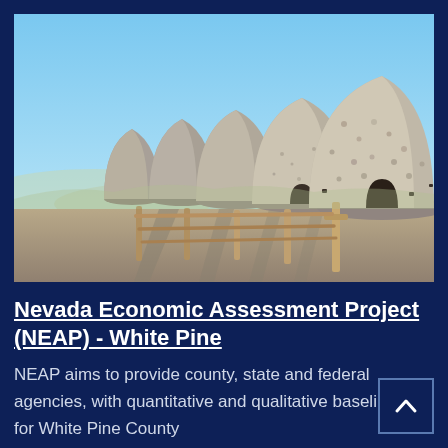[Figure (photo): Photograph of a row of beehive-shaped stone kilns (Ward Charcoal Ovens) in a desert landscape with a wooden fence in the foreground and blue sky above, located in White Pine County, Nevada.]
Nevada Economic Assessment Project (NEAP) - White Pine
NEAP aims to provide county, state and federal agencies, with quantitative and qualitative baseline data for White Pine County